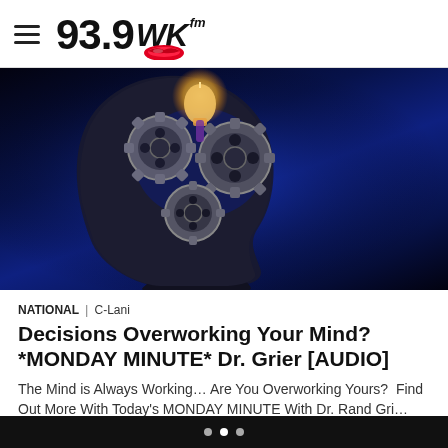93.9 WKYS fm
[Figure (illustration): A dark silhouette of a human head in profile facing right, with glowing blue background. Inside the brain area are three interlocking metallic gears with a glowing light bulb shape at the top, representing the mind thinking or overworking.]
NATIONAL | C-Lani
Decisions Overworking Your Mind? *MONDAY MINUTE* Dr. Grier [AUDIO]
The Mind is Always Working… Are You Overworking Yours?  Find Out More With Today's MONDAY MINUTE With Dr. Rand Gri…